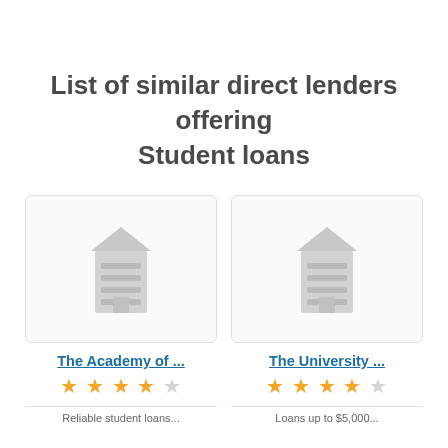List of similar direct lenders offering Student loans
[Figure (illustration): Building/institution placeholder icon (grey)]
The Academy of ...
★★★★☆ (4 out of 5 stars)
Reliable student loans...
[Figure (illustration): Building/institution placeholder icon (grey)]
The University ...
★★★★☆ (4 out of 5 stars)
Loans up to $5,000...